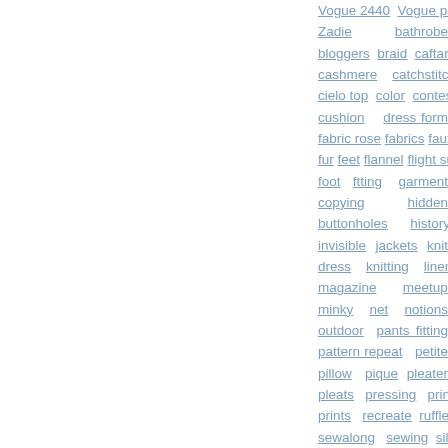Vogue 2440 Vogue patterns Zadie bathrobe bloggers braid caftan cashmere catchstitch cielo top color contest cushion dress form fabric rose fabrics faux fur feet flannel flight suit foot ftting garment copying hidden buttonholes history invisible jackets knit dress knitting linen magazine meetups minky net notions outdoor pants fitting pattern repeat petite pillow pique pleater pleats pressing print prints recreate ruffle sewalong sewing silk dress silk dupioni silk jersey summer thrift store top. Burda velvet board voile wearable muslin wool coat wrap zipper